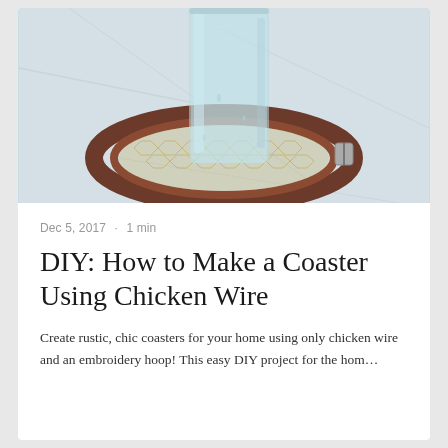[Figure (photo): Close-up photo of a DIY coaster made from an embroidery hoop filled with chicken wire, with a glass of water placed on top, resting on a marble surface.]
Dec 5, 2017  ·  1 min
DIY: How to Make a Coaster Using Chicken Wire
Create rustic, chic coasters for your home using only chicken wire and an embroidery hoop! This easy DIY project for the hom…